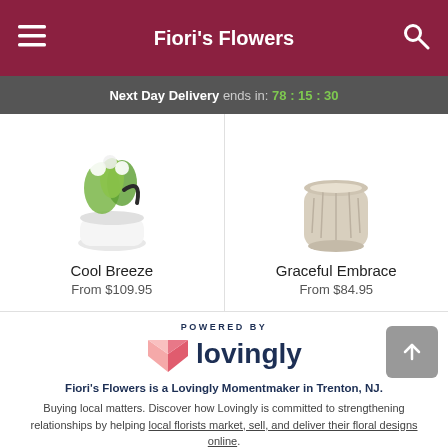Fiori's Flowers
Next Day Delivery ends in: 78:15:30
[Figure (photo): Cool Breeze floral arrangement in white pot with green flowers and foliage]
Cool Breeze
From $109.95
[Figure (photo): Graceful Embrace arrangement in a textured beige/cream vase]
Graceful Embrace
From $84.95
POWERED BY
[Figure (logo): Lovingly logo with pink/red heart envelope icon and dark blue 'lovingly' wordmark]
Fiori's Flowers is a Lovingly Momentmaker in Trenton, NJ.
Buying local matters. Discover how Lovingly is committed to strengthening relationships by helping local florists market, sell, and deliver their floral designs online.